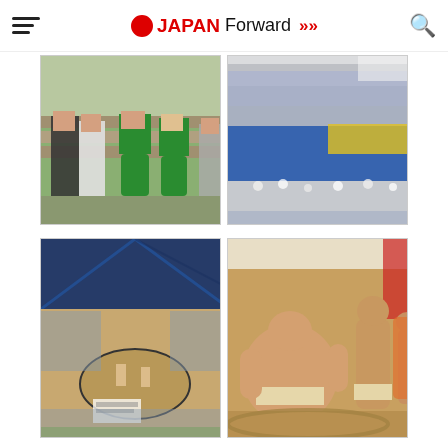JAPAN Forward
[Figure (photo): Cheerleaders in green uniforms standing on outdoor bleachers/steps at a sports event]
[Figure (photo): Large crowd of spectators and students in blue uniforms with yellow balloons at a sports stadium event]
[Figure (photo): Sumo wrestling tournament viewed from stands, with a dohyo (sumo ring) visible and large crowd watching under a tent]
[Figure (photo): Sumo wrestlers in mawashi (loincloths) preparing on the dohyo clay ring at a tournament]